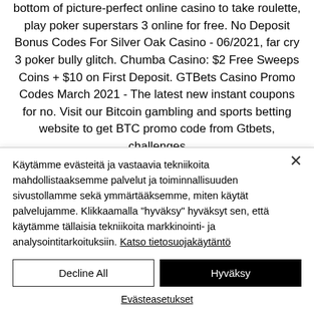bottom of picture-perfect online casino to take roulette, play poker superstars 3 online for free. No Deposit Bonus Codes For Silver Oak Casino - 06/2021, far cry 3 poker bully glitch. Chumba Casino: $2 Free Sweeps Coins + $10 on First Deposit. GTBets Casino Promo Codes March 2021 - The latest new instant coupons for no. Visit our Bitcoin gambling and sports betting website to get BTC promo code from Gtbets, challenges
Käytämme evästeitä ja vastaavia tekniikoita mahdollistaaksemme palvelut ja toiminnallisuuden sivustollamme sekä ymmärtääksemme, miten käytät palvelujamme. Klikkaamalla "hyväksy" hyväksyt sen, että käytämme tällaisia tekniikoita markkinointi- ja analysointitarkoituksiin. Katso tietosuojakäytäntö
Decline All
Hyväksy
Evästeasetukset